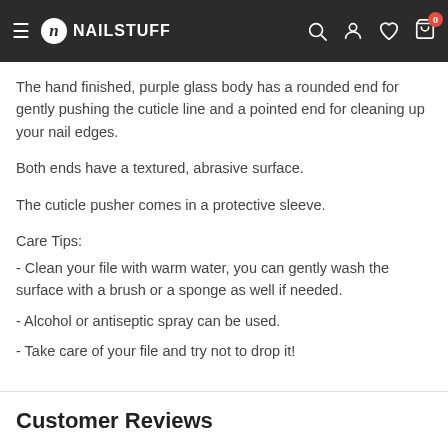NAILSTUFF
The hand finished, purple glass body has a rounded end for gently pushing the cuticle line and a pointed end for cleaning up your nail edges.
Both ends have a textured, abrasive surface.
The cuticle pusher comes in a protective sleeve.
Care Tips:
- Clean your file with warm water, you can gently wash the surface with a brush or a sponge as well if needed.
- Alcohol or antiseptic spray can be used.
- Take care of your file and try not to drop it!
Customer Reviews